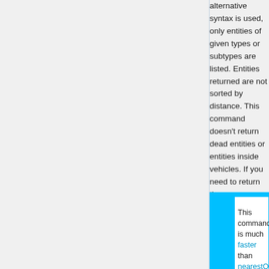alternative syntax is used, only entities of given types or subtypes are listed. Entities returned are not sorted by distance. This command doesn't return dead entities or entities inside vehicles. If you need to return those, use entities command.
This command is much faster than nearestObj...